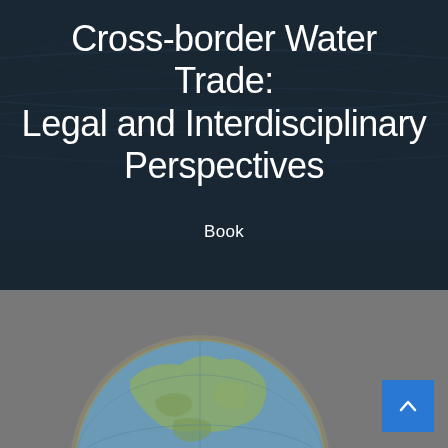[Figure (photo): Dark water ripple surface as background for the top section header area]
Cross-border Water Trade: Legal and Interdisciplinary Perspectives
Book
[Figure (photo): A vintage globe showing world map, photographed against a gray background, positioned in the lower section of the page]